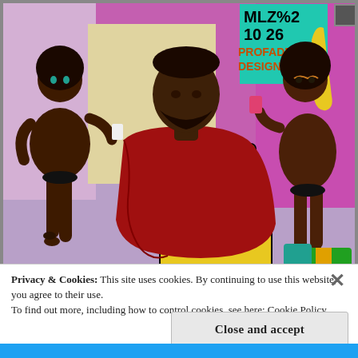[Figure (illustration): Digital comic-style illustration of a barbershop scene. A man in a red barber cape sits in a yellow barber chair in the center. Two nude women stand on either side taking selfies with phones. The background is pink/purple with pop art posters on the wall including text 'MLZ%2 10 26 PROFADES DESIGNS'. Bright colors including yellow, red, dark brown skin tones, green, and magenta.]
Privacy & Cookies: This site uses cookies. By continuing to use this website, you agree to their use.
To find out more, including how to control cookies, see here: Cookie Policy
Close and accept